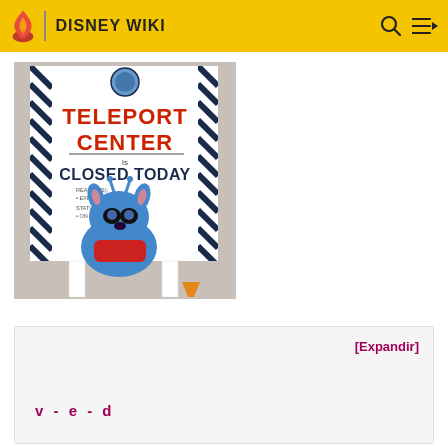DISNEY WIKI
[Figure (photo): A sandwich board sign reading 'TELEPORT CENTER IS CLOSED TODAY' with an image of Stitch (Experiment 626) from Lilo & Stitch at what appears to be a theme park. The sign has diagonal black and white stripes on the sides.]
[Expandir]
v - e - d